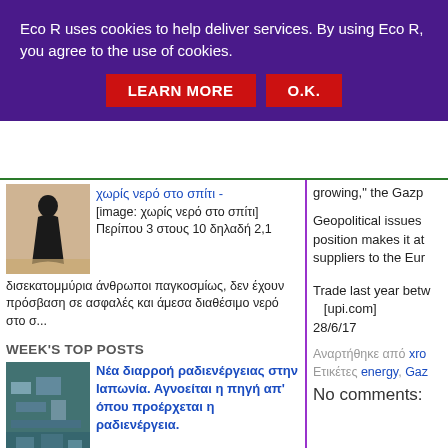Eco R uses cookies to help deliver services. By using Eco R, you agree to the use of cookies.
LEARN MORE   O.K.
[Figure (photo): Woman in black robe walking in desert landscape]
χωρίς νερό στο σπίτι - [image: χωρίς νερό στο σπίτι] Περίπου 3 στους 10 δηλαδή 2,1 δισεκατομμύρια άνθρωποι παγκοσμίως, δεν έχουν πρόσβαση σε ασφαλές και άμεσα διαθέσιμο νερό στο σ...
WEEK'S TOP POSTS
[Figure (photo): Aerial view of industrial/port facility]
Νέα διαρροή ραδιενέργειας στην Ιαπωνία. Αγνοείται η πηγή απ' όπου προέρχεται η ραδιενέργεια. Πολύ υψηλά ποσοστά ραδιενέργειας μετρήθηκαν χθες στον σταθμό παραγωγής ενέργειας της
growing," the Gazp
Geopolitical issues position makes it at suppliers to the Eur
Trade last year betw [upi.com] 28/6/17
Αναρτήθηκε από xro
Ετικέτες energy, Gaz
No comments: